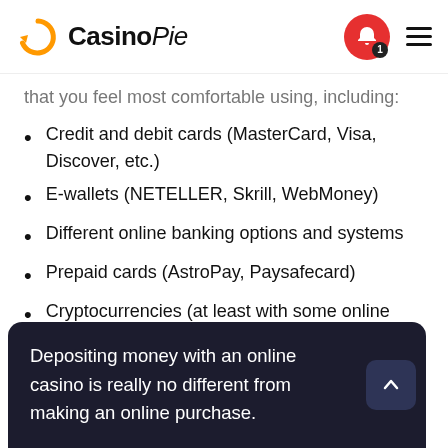CasinoPie
that you feel most comfortable using, including:
Credit and debit cards (MasterCard, Visa, Discover, etc.)
E-wallets (NETELLER, Skrill, WebMoney)
Different online banking options and systems
Prepaid cards (AstroPay, Paysafecard)
Cryptocurrencies (at least with some online casinos)
Depositing money with an online casino is really no different from making an online purchase.